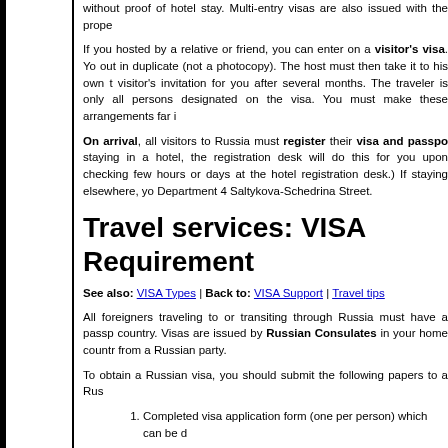without proof of hotel stay. Multi-entry visas are also issued with the prope...
If you hosted by a relative or friend, you can enter on a visitor's visa. Yo... out in duplicate (not a photocopy). The host must then take it to his own... visitor's invitation for you after several months. The traveler is only all... persons designated on the visa. You must make these arrangements far i...
On arrival, all visitors to Russia must register their visa and passpo... staying in a hotel, the registration desk will do this for you upon checking... few hours or days at the hotel registration desk.) If staying elsewhere, yo... Department 4 Saltykova-Schedrina Street.
Travel services: VISA Requirement
See also: VISA Types | Back to: VISA Support | Travel tips
All foreigners traveling to or transiting through Russia must have a passp... country. Visas are issued by Russian Consulates in your home countr... from a Russian party.
To obtain a Russian visa, you should submit the following papers to a Rus...
Completed visa application form (one per person) which can be d...
Original national passport (valid not less than one month after the...
Three standard passport-size photographs. Please, sign on the b...
An invitation from the authorized hosting Russian travel agency (t... invitation can be arranged through Nota Bena Co.
A Money order or cashiers check payable to the Russian Consula...
Russian visas must be registered in the first 3 bank days after your arri... small fee (about 1 EUR per person) at check-in procedure or in OVIR of... help of the company that invited tourists. Registration fee in this case is ne...
Russian visa is an exit permit as well and if you lose it or overstay you... register your visa, leaving the country may cause problems.
Tourist visas are not subject to prolongation. As for business visas –... provided your invitation) is allowed to apply for replacement, extension...